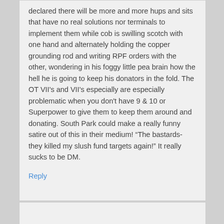declared there will be more and more hups and sits that have no real solutions nor terminals to implement them while cob is swilling scotch with one hand and alternately holding the copper grounding rod and writing RPF orders with the other, wondering in his foggy little pea brain how the hell he is going to keep his donators in the fold. The OT VII's and VII's especially are especially problematic when you don't have 9 & 10 or Superpower to give them to keep them around and donating. South Park could make a really funny satire out of this in their medium! "The bastards- they killed my slush fund targets again!" It really sucks to be DM.
Reply